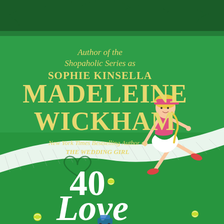[Figure (illustration): Book cover for '40 Love' by Madeleine Wickham. Green tennis court background with dark green trees at the top. A cartoon blonde woman in a pink top, white skirt, and visor sits on a white tennis net. A heart shape is drawn on the court surface. Two yellow tennis balls are on the ground. Author credit reads 'Author of the Shopaholic Series as Sophie Kinsella' and 'New York Times Bestselling Author of THE WEDDING GIRL'. Title is '40 Love' in large white text.]